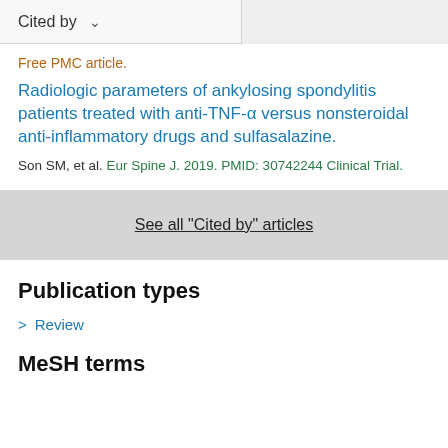Cited by
Free PMC article.
Radiologic parameters of ankylosing spondylitis patients treated with anti-TNF-α versus nonsteroidal anti-inflammatory drugs and sulfasalazine.
Son SM, et al. Eur Spine J. 2019. PMID: 30742244 Clinical Trial.
See all "Cited by" articles
Publication types
Review
MeSH terms